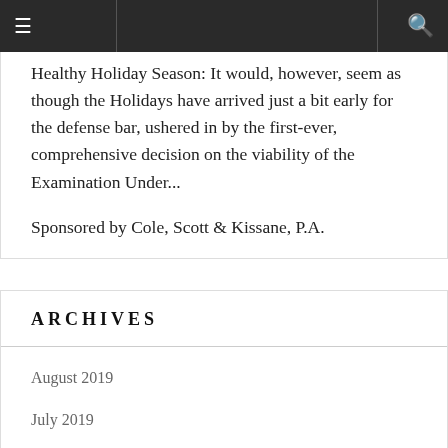≡  [navigation bar]  🔍
Healthy Holiday Season: It would, however, seem as though the Holidays have arrived just a bit early for the defense bar, ushered in by the first-ever, comprehensive decision on the viability of the Examination Under...
Sponsored by Cole, Scott & Kissane, P.A.
ARCHIVES
August 2019
July 2019
June 2019
May 2019
April 2019
March 2019